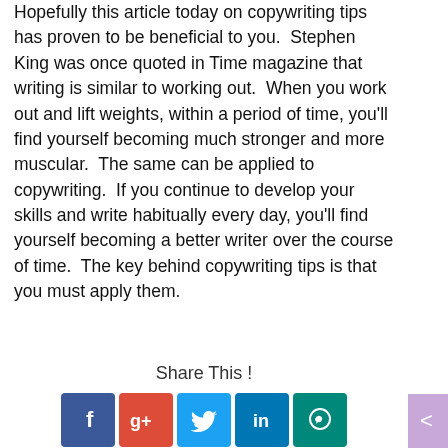Hopefully this article today on copywriting tips has proven to be beneficial to you.  Stephen King was once quoted in Time magazine that writing is similar to working out.  When you work out and lift weights, within a period of time, you'll find yourself becoming much stronger and more muscular.  The same can be applied to copywriting.  If you continue to develop your skills and write habitually every day, you'll find yourself becoming a better writer over the course of time.  The key behind copywriting tips is that you must apply them.
copy-writing
Share This !
[Figure (other): Social media sharing icons: Facebook, Google+, Twitter, LinkedIn, WhatsApp]